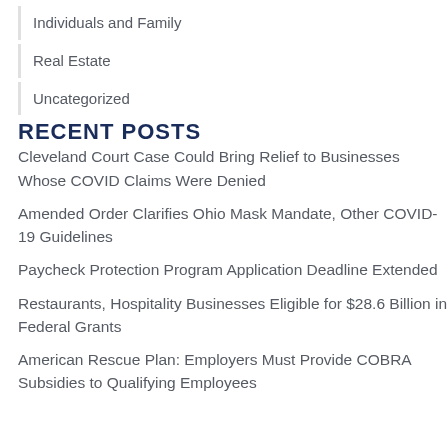Individuals and Family
Real Estate
Uncategorized
RECENT POSTS
Cleveland Court Case Could Bring Relief to Businesses Whose COVID Claims Were Denied
Amended Order Clarifies Ohio Mask Mandate, Other COVID-19 Guidelines
Paycheck Protection Program Application Deadline Extended
Restaurants, Hospitality Businesses Eligible for $28.6 Billion in Federal Grants
American Rescue Plan: Employers Must Provide COBRA Subsidies to Qualifying Employees